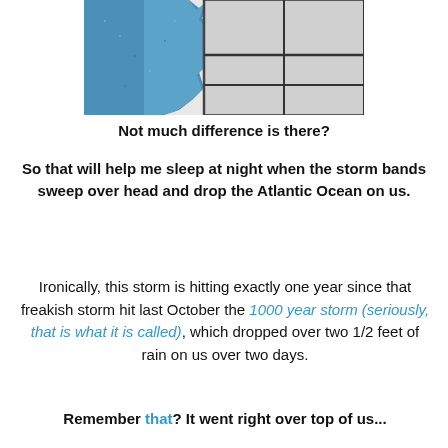[Figure (map): Partial weather/storm map showing a blue shaded region on the left (land/storm area) and a gray region with dark grid lines on the right, cropped at top and bottom]
Not much difference is there?
So that will help me sleep at night when the storm bands sweep over head and drop the Atlantic Ocean on us.
Ironically, this storm is hitting exactly one year since that freakish storm hit last October the 1000 year storm (seriously, that is what it is called), which dropped over two 1/2 feet of rain on us over two days.
Remember that? It went right over top of us...